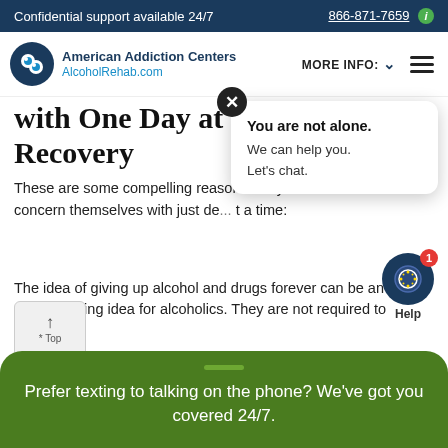Confidential support available 24/7 | 866-871-7659
[Figure (logo): American Addiction Centers / AlcoholRehab.com logo with circular icon]
with One Day at a Time in Recovery
These are some compelling reasons why many people in recovery to concern themselves with just de... time:
[Figure (screenshot): Chat popup overlay: 'You are not alone. We can help you. Let's chat.' with close button and Help icon]
The idea of giving up alcohol and drugs forever can be an overwhelming idea for alcoholics. They are not required to
Prefer texting to talking on the phone? We've got you covered 24/7.